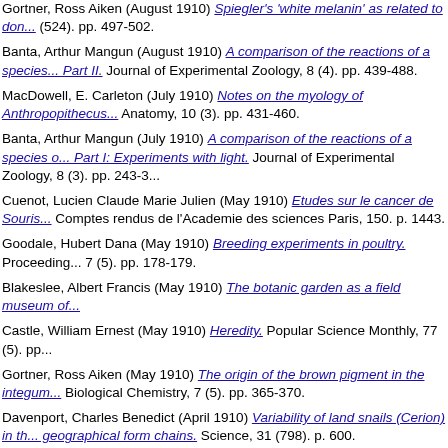Gortner, Ross Aiken (August 1910) Spiegler's 'white melanin' as related to don... (524). pp. 497-502.
Banta, Arthur Mangun (August 1910) A comparison of the reactions of a species... Part II. Journal of Experimental Zoology, 8 (4). pp. 439-488.
MacDowell, E. Carleton (July 1910) Notes on the myology of Anthropopithecus... Anatomy, 10 (3). pp. 431-460.
Banta, Arthur Mangun (July 1910) A comparison of the reactions of a species o... Part I: Experiments with light. Journal of Experimental Zoology, 8 (3). pp. 243-3...
Cuenot, Lucien Claude Marie Julien (May 1910) Etudes sur le cancer de Souris... Comptes rendus de l'Academie des sciences Paris, 150. p. 1443.
Goodale, Hubert Dana (May 1910) Breeding experiments in poultry. Proceeding... 7 (5). pp. 178-179.
Blakeslee, Albert Francis (May 1910) The botanic garden as a field museum of...
Castle, William Ernest (May 1910) Heredity. Popular Science Monthly, 77 (5). pp...
Gortner, Ross Aiken (May 1910) The origin of the brown pigment in the integum... Biological Chemistry, 7 (5). pp. 365-370.
Davenport, Charles Benedict (April 1910) Variability of land snails (Cerion) in th... geographical form chains. Science, 31 (798). p. 600.
Davenport, Charles Benedict (April 1910) Dr. Galloway's "Canary Breeding". Bio...
Harris, James Arthur (April 1910) A quantitative study of the morphology of the i... Biometrika, 7 (3). pp. 305-351.